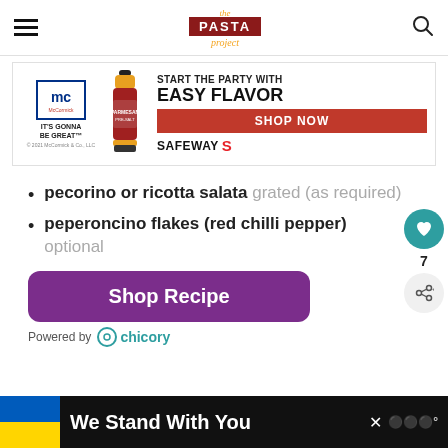the Pasta project
[Figure (infographic): McCormick advertisement for Safeway: 'START THE PARTY WITH EASY FLAVOR - SHOP NOW - SAFEWAY' with product bottle image and McCormick logo]
pecorino or ricotta salata grated (as required)
peperoncino flakes (red chilli pepper) optional
[Figure (other): Purple 'Shop Recipe' button powered by chicory]
[Figure (other): Bottom ad bar: 'We Stand With You' with Ukraine flag colors]